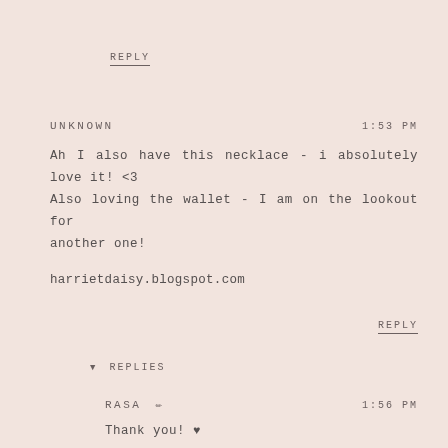REPLY
UNKNOWN   1:53 PM
Ah I also have this necklace - i absolutely love it! <3 Also loving the wallet - I am on the lookout for another one!
harrietdaisy.blogspot.com
REPLY
▼ REPLIES
RASA ✏ 1:56 PM
Thank you! ♥